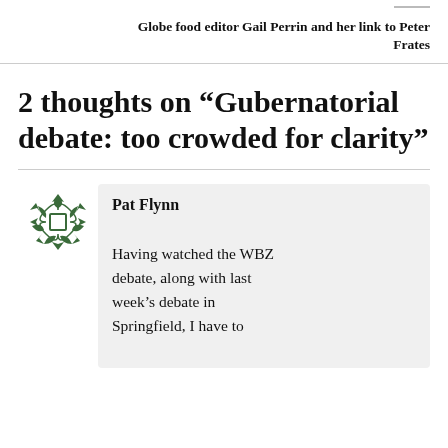Globe food editor Gail Perrin and her link to Peter Frates
2 thoughts on “Gubernatorial debate: too crowded for clarity”
Pat Flynn
Having watched the WBZ debate, along with last week’s debate in Springfield, I have to